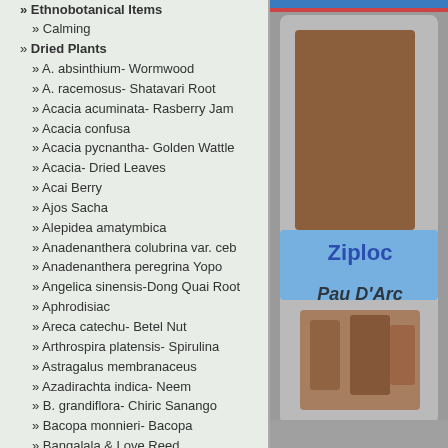» Ethnobotanical Items
» Calming
» Dried Plants
» A. absinthium- Wormwood
» A. racemosus- Shatavari Root
» Acacia acuminata- Rasberry Jam
» Acacia confusa
» Acacia pycnantha- Golden Wattle
» Acacia- Dried Leaves
» Acai Berry
» Ajos Sacha
» Alepidea amatymbica
» Anadenanthera colubrina var. ceb
» Anadenanthera peregrina Yopo
» Angelica sinensis-Dong Quai Root
» Aphrodisiac
» Areca catechu- Betel Nut
» Arthrospira platensis- Spirulina
» Astragalus membranaceus
» Azadirachta indica- Neem
» B. grandiflora- Chiric Sanango
» Bacopa monnieri- Bacopa
» Bangalala & Love Reed
» Banisteriopsis caapi
» Bee Pollen
[Figure (photo): Photo of a Ziploc bag labeled 'Pau D'Arco' containing dried plant material, shown against a gray background.]